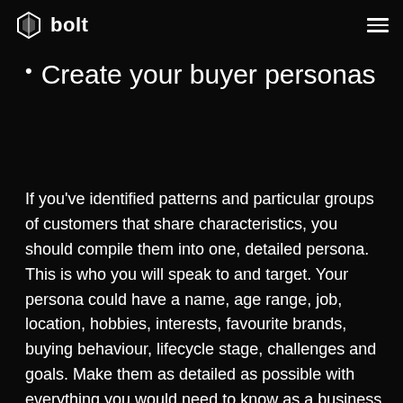bolt
Create your buyer personas
If you've identified patterns and particular groups of customers that share characteristics, you should compile them into one, detailed persona. This is who you will speak to and target. Your persona could have a name, age range, job, location, hobbies, interests, favourite brands, buying behaviour, lifecycle stage, challenges and goals. Make them as detailed as possible with everything you would need to know as a business to be